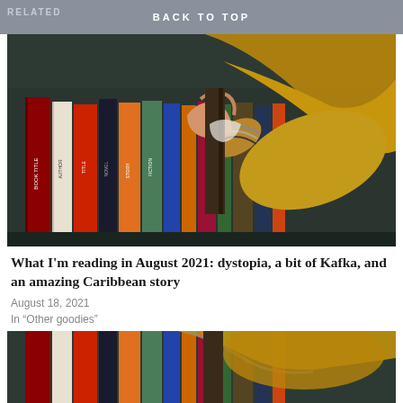BACK TO TOP
RELATED
[Figure (photo): A hand wearing bracelets and a tan/mustard sweater reaching into a bookshelf filled with colorful books against a dark green background.]
What I'm reading in August 2021: dystopia, a bit of Kafka, and an amazing Caribbean story
August 18, 2021
In “Other goodies”
[Figure (photo): A hand wearing bracelets and a tan/mustard sweater reaching into a bookshelf filled with colorful books against a dark green background. (partial view, cropped)]